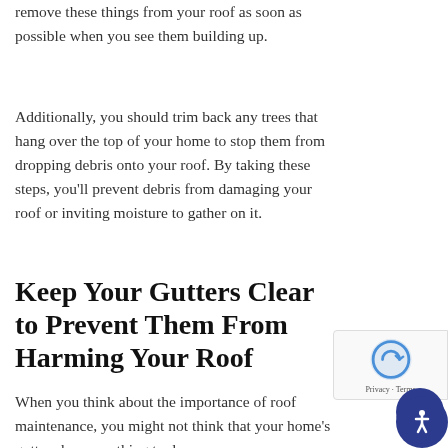remove these things from your roof as soon as possible when you see them building up.
Additionally, you should trim back any trees that hang over the top of your home to stop them from dropping debris onto your roof. By taking these steps, you'll prevent debris from damaging your roof or inviting moisture to gather on it.
Keep Your Gutters Clear to Prevent Them From Harming Your Roof
When you think about the importance of roof maintenance, you might not think that your home's gutters have anything to do